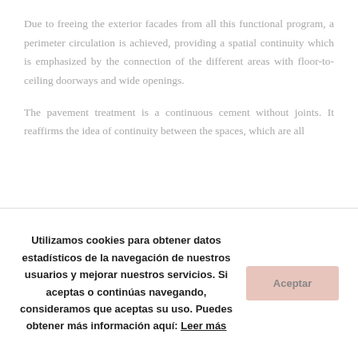Due to freeing the exterior facades from all this functional program, a perimeter circulation is achieved, providing a spatial continuity which is emphasized by the connection of the different areas with floor-to-ceiling doorways and wide openings.
The pavement treatment is a continuous cement without joints. It reaffirms the idea of continuity between the spaces, which are all
Utilizamos cookies para obtener datos estadísticos de la navegación de nuestros usuarios y mejorar nuestros servicios. Si aceptas o continúas navegando, consideramos que aceptas su uso. Puedes obtener más información aquí: Leer más